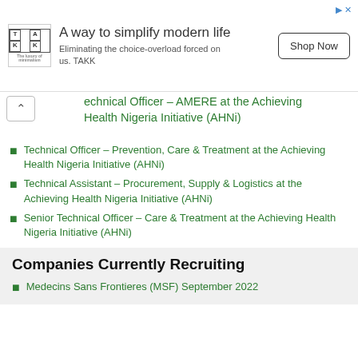[Figure (other): Advertisement banner: TAKK logo, headline 'A way to simplify modern life', subtext 'Eliminating the choice-overload forced on us. TAKK', and 'Shop Now' button]
echnical Officer – AMERE at the Achieving Health Nigeria Initiative (AHNi)
Technical Officer – Prevention, Care & Treatment at the Achieving Health Nigeria Initiative (AHNi)
Technical Assistant – Procurement, Supply & Logistics at the Achieving Health Nigeria Initiative (AHNi)
Senior Technical Officer – Care & Treatment at the Achieving Health Nigeria Initiative (AHNi)
Companies Currently Recruiting
Medecins Sans Frontieres (MSF) September 2022